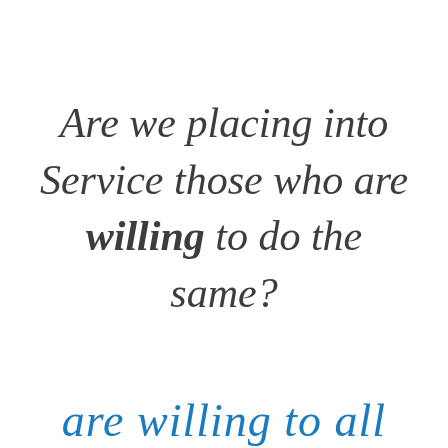Are we placing into Service those who are willing to do the same?
are willing to all